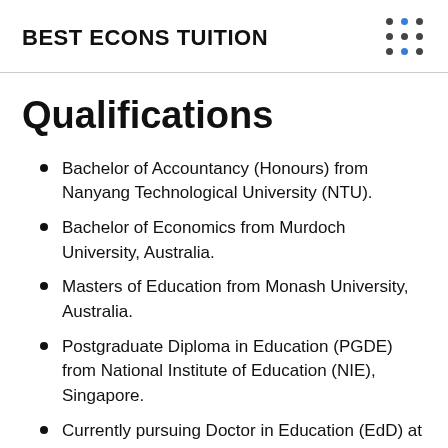BEST ECONS TUITION
Qualifications
Bachelor of Accountancy (Honours) from Nanyang Technological University (NTU).
Bachelor of Economics from Murdoch University, Australia.
Masters of Education from Monash University, Australia.
Postgraduate Diploma in Education (PGDE) from National Institute of Education (NIE), Singapore.
Currently pursuing Doctor in Education (EdD) at National Institute of Education (NIE), Si...